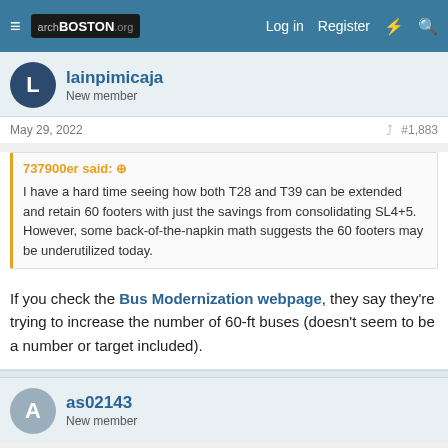archBOSTON.org — Log in  Register
lainpimicaja
New member
May 29, 2022  #1,883
737900er said: ↑
I have a hard time seeing how both T28 and T39 can be extended and retain 60 footers with just the savings from consolidating SL4+5. However, some back-of-the-napkin math suggests the 60 footers may be underutilized today.
If you check the Bus Modernization webpage, they say they're trying to increase the number of 60-ft buses (doesn't seem to be a number or target included).
as02143
New member